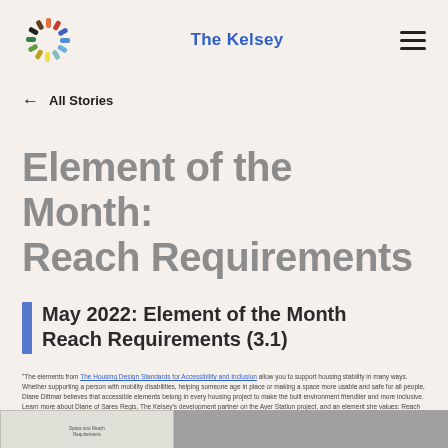The Kelsey
← All Stories
Element of the Month: Reach Requirements
May 2022:  Element of the Month Reach Requirements (3.1)
"The elements from The Housing Design Standards for Accessibility and Inclusion allow you to support housing stability in many ways. Whether supporting a person with mobility disabilities, helping someone age in place or making a space more usable and safe for all people, Diane Dittmar believes that accessible elements belong in every housing project to make the built environment friendlier and more inclusive. Learn more about Diane of Sares Regis, The Kelsey's development partner on the Ayer Station project, and an element she values: Reach Requirements."
[Figure (screenshot): Bottom strip showing partial images of a Space and Reach Requirements diagram and a photo]